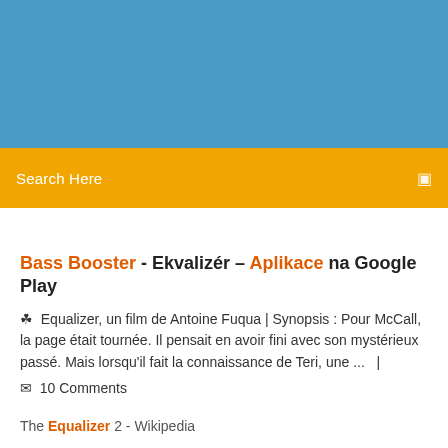[Figure (other): Blue banner header image area]
Search Here
Bass Booster - Ekvalizér – Aplikace na Google Play
Equalizer, un film de Antoine Fuqua | Synopsis : Pour McCall, la page était tournée. Il pensait en avoir fini avec son mystérieux passé. Mais lorsqu'il fait la connaissance de Teri, une ...  |  10 Comments
The Equalizer 2 - Wikipedia